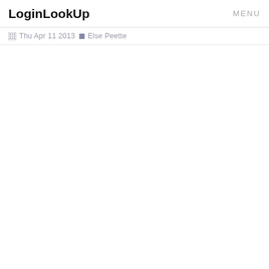LoginLookUp  MENU
Thu Apr 11 2013  Else Peette